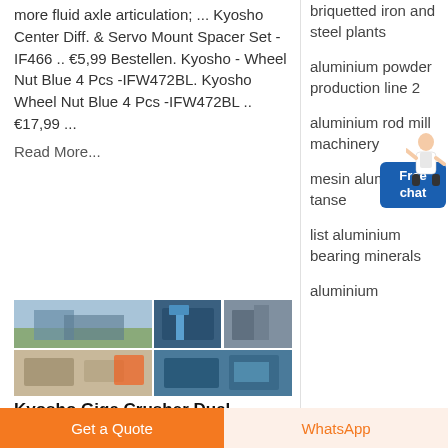more fluid axle articulation; ... Kyosho Center Diff. & Servo Mount Spacer Set -IF466 .. €5,99 Bestellen. Kyosho - Wheel Nut Blue 4 Pcs -IFW472BL. Kyosho Wheel Nut Blue 4 Pcs -IFW472BL .. €17,99 ...
Read More...
[Figure (photo): Grid of photos showing industrial crushing/mining machinery and equipment at an outdoor site]
Kyosho Giga Crusher Dual
briquetted iron and steel plants
aluminium powder production line 2
aluminium rod mill machinery
mesin aluminium tanse
list aluminium bearing minerals
aluminium
Get a Quote
WhatsApp